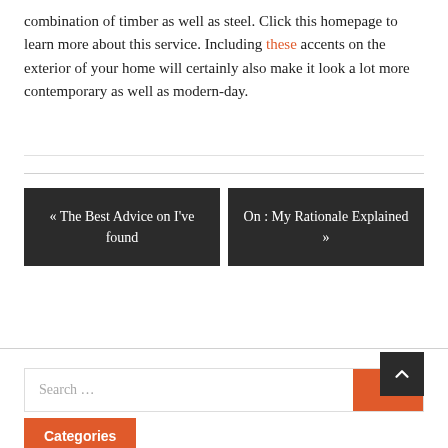combination of timber as well as steel. Click this homepage to learn more about this service. Including these accents on the exterior of your home will certainly also make it look a lot more contemporary as well as modern-day.
« The Best Advice on I've found
On : My Rationale Explained »
Search ...
Categories